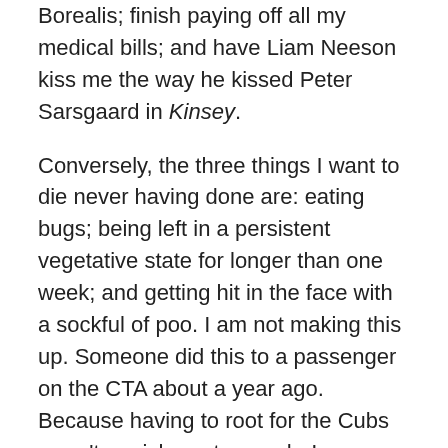Borealis; finish paying off all my medical bills; and have Liam Neeson kiss me the way he kissed Peter Sarsgaard in Kinsey.
Conversely, the three things I want to die never having done are: eating bugs; being left in a persistent vegetative state for longer than one week; and getting hit in the face with a sockful of poo. I am not making this up. Someone did this to a passenger on the CTA about a year ago. Because having to root for the Cubs wasn't punishment enough, I guess.
I wish I could say that one cause or charity is more worthwhile than another. I personally believe in literacy campaigns, because a person who learns to read can then go forth and work toward another worthwhile cause, but I'm totally willing to agree that I'm not necessarily right about that.